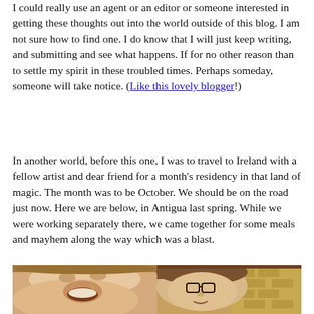I could really use an agent or an editor or someone interested in getting these thoughts out into the world outside of this blog.  I am not sure how to find one.  I do know that I will just keep writing, and submitting and see what happens.  If for no other reason than to settle my spirit in these troubled times.  Perhaps someday, someone will take notice.  (Like this lovely blogger!)
In another world, before this one, I was to travel to Ireland with a fellow artist and dear friend for a month's residency in that land of magic.  The month was to be October.  We should be on the road just now.  Here we are below, in Antigua last spring.  While we were working separately there, we came together for some meals and mayhem along the way which was a blast.
[Figure (photo): Photo of two women smiling/laughing, taken in Antigua. The woman on the left is laughing broadly, the woman on the right is wearing glasses and smiling.]